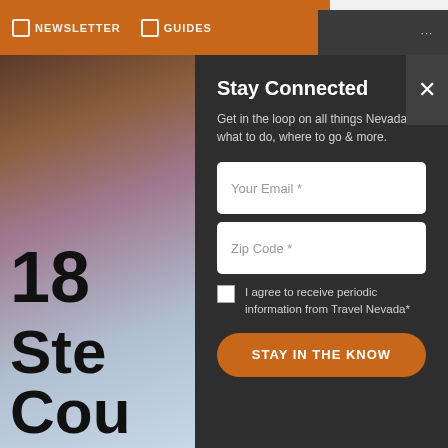NEWSLETTER   GUIDES   ...
[Figure (photo): Outdoor/nature photo with reddish rocks and blue sky, partially visible on left side behind modal]
Stay Connected
Get in the loop on all things Nevada — what to do, where to go & more.
Your Email *
Zip Code *
I agree to receive periodic information from Travel Nevada*
STAY IN THE KNOW
18
Ste
Cou